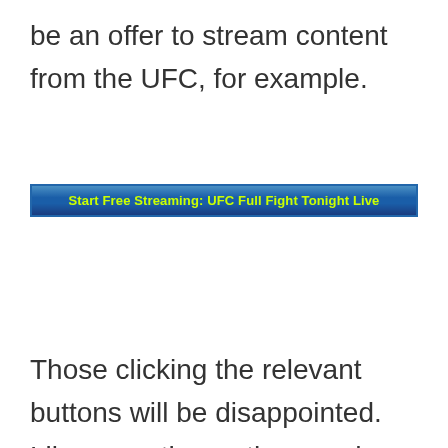be an offer to stream content from the UFC, for example.
[Figure (screenshot): A dark blue gradient banner/button with yellow-green bold text reading 'Start Free Streaming: UFC Full Fight Tonight Live']
Those clicking the relevant buttons will be disappointed. Like more than a thousand similar